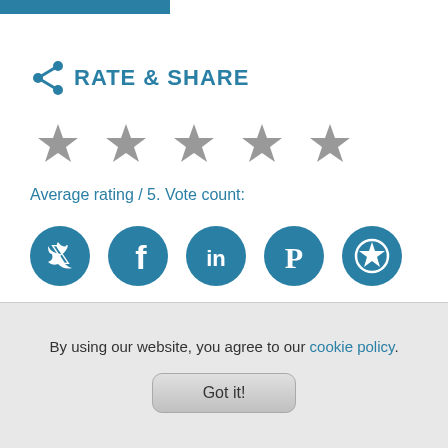Rate & Share
[Figure (infographic): Five grey star icons for rating]
Average rating / 5. Vote count:
[Figure (infographic): Social media share icons: Twitter, Facebook, LinkedIn, Pinterest, Zomato/star]
By using our website, you agree to our cookie policy.
Got it!